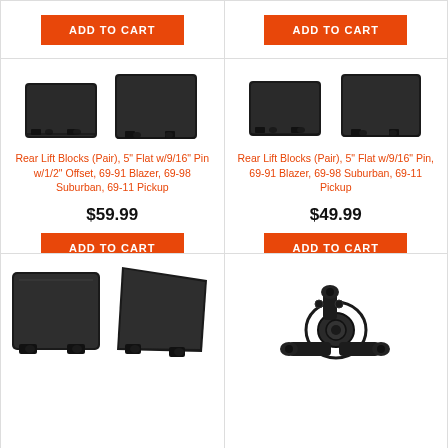[Figure (other): Add to Cart button (orange) for left product in top row]
[Figure (other): Add to Cart button (orange) for right product in top row]
[Figure (photo): Two black rear lift blocks shown side by side (5 inch flat with 9/16 inch pin with 1/2 inch offset)]
Rear Lift Blocks (Pair), 5" Flat w/9/16" Pin w/1/2" Offset, 69-91 Blazer, 69-98 Suburban, 69-11 Pickup
$59.99
[Figure (other): Add to Cart button (orange)]
[Figure (photo): Two black rear lift blocks shown side by side (5 inch flat with 9/16 inch pin)]
Rear Lift Blocks (Pair), 5" Flat w/9/16" Pin, 69-91 Blazer, 69-98 Suburban, 69-11 Pickup
$49.99
[Figure (other): Add to Cart button (orange)]
[Figure (photo): Two black rear lift blocks partially visible in bottom left cell]
[Figure (photo): Black mechanical steering/suspension component (knuckle or bracket) partially visible in bottom right cell]